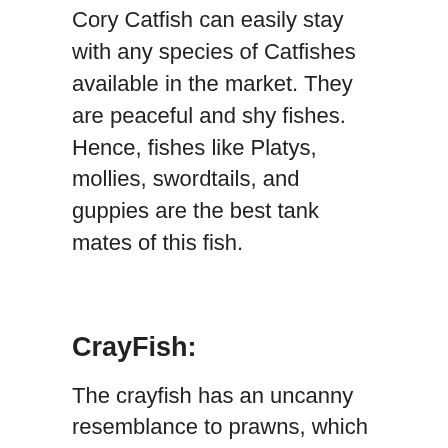Cory Catfish can easily stay with any species of Catfishes available in the market. They are peaceful and shy fishes. Hence, fishes like Platys, mollies, swordtails, and guppies are the best tank mates of this fish.
CrayFish:
The crayfish has an uncanny resemblance to prawns, which is why it is considered as the prawn of the aquarium. It is also known as crawfish, crawdads, mudbugs. The scientific name of Crayfish is Cambarus sp. They are usually found in North America and belong to the Cambaridae family.